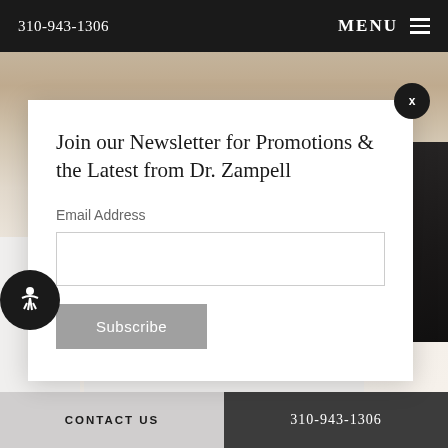310-943-1306  MENU
[Figure (photo): Doctor in white lab coat with dark hair, American Society of Plastic Surgeons logo visible on coat]
Join our Newsletter for Promotions & the Latest from Dr. Zampell
Email Address
Subscribe
CONTACT US  310-943-1306